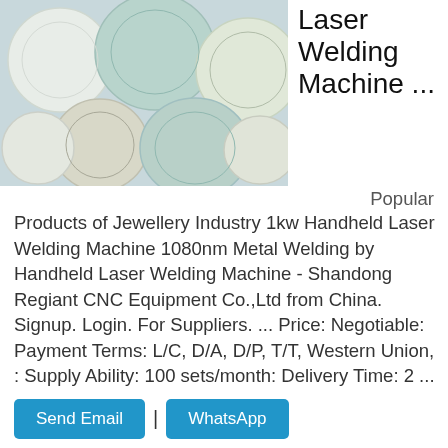[Figure (photo): Product photo showing multiple round glass/optical lens discs in white, mint green, and cream colors scattered on a light blue-gray surface]
Laser Welding Machine ...
Popular Products of Jewellery Industry 1kw Handheld Laser Welding Machine 1080nm Metal Welding by Handheld Laser Welding Machine - Shandong Regiant CNC Equipment Co.,Ltd from China. Signup. Login. For Suppliers. ... Price: Negotiable: Payment Terms: L/C, D/A, D/P, T/T, Western Union, : Supply Ability: 100 sets/month: Delivery Time: 2 ...
[Figure (screenshot): Bottom section showing a gray image bar, '1000 Watt' label, and two large buttons: 'Send Email' (light blue) and 'Whatsapp' (dark blue)]